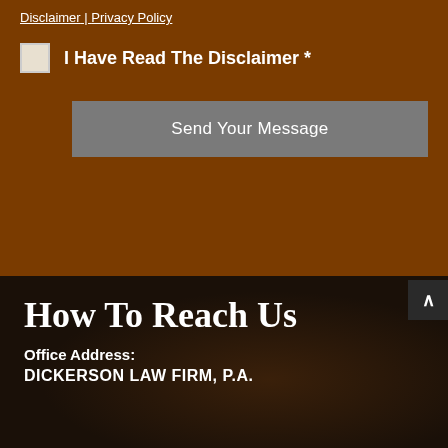Disclaimer | Privacy Policy
I Have Read The Disclaimer *
Send Your Message
How To Reach Us
Office Address:
DICKERSON LAW FIRM, P.A.